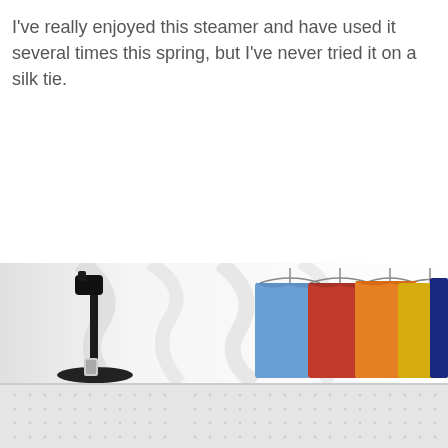I've really enjoyed this steamer and have used it several times this spring, but I've never tried it on a silk tie.
[Figure (photo): Photo of a garment steamer device (black) on the left side, with a row of colorful clothes hanging on hangers (blue, red, orange, yellow, navy) on the right side, against a white/light background. The bottom portion shows a dotted/reflected surface.]